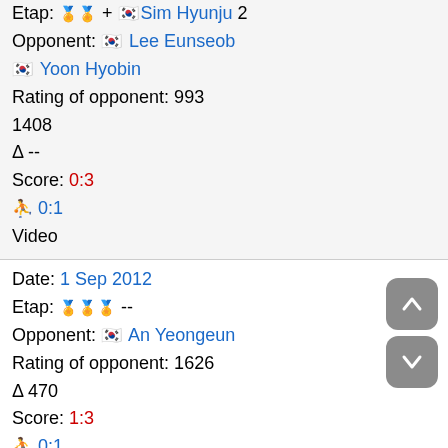Etap: [icon] + [flag] Sim Hyunju 2
Opponent: [flag] Lee Eunseob [flag] Yoon Hyobin
Rating of opponent: 993 1408
Δ --
Score: 0:3
0:1
Video
Date: 1 Sep 2012
Etap: [icons] --
Opponent: [flag] An Yeongeun
Rating of opponent: 1626
Δ 470
Score: 1:3
0:1
Video
Date: 1 Sep 2012